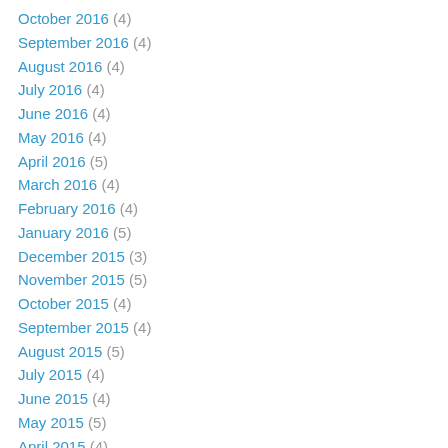October 2016 (4)
September 2016 (4)
August 2016 (4)
July 2016 (4)
June 2016 (4)
May 2016 (4)
April 2016 (5)
March 2016 (4)
February 2016 (4)
January 2016 (5)
December 2015 (3)
November 2015 (5)
October 2015 (4)
September 2015 (4)
August 2015 (5)
July 2015 (4)
June 2015 (4)
May 2015 (5)
April 2015 (4)
March 2015 (5)